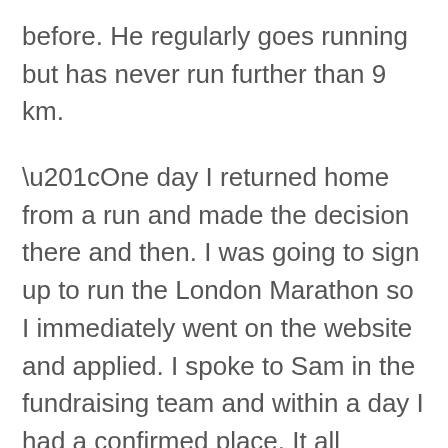before. He regularly goes running but has never run further than 9 km.
“One day I returned home from a run and made the decision there and then. I was going to sign up to run the London Marathon so I immediately went on the website and applied. I spoke to Sam in the fundraising team and within a day I had a confirmed place. It all happened very quickly.”